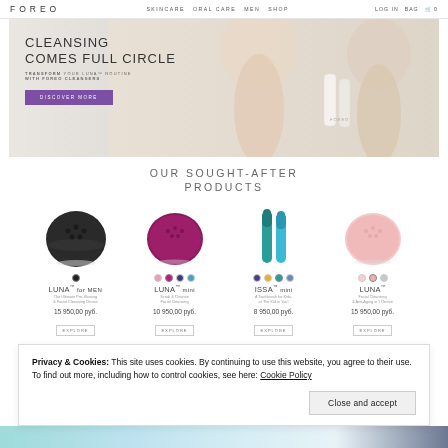FOREO  SKINCARE  ORAL CARE  MEN  SHOP  LOG IN  BAG
[Figure (photo): FOREO hero banner with woman, text 'CLEANSING COMES FULL CIRCLE', subtitle 'TRANSFORM YOUR LUNA™ ROUTINE WITH FOREO CLEANSERS', purple DISCOVER MORE button]
OUR SOUGHT-AFTER PRODUCTS
[Figure (photo): LUNA for MEN black facial cleansing device, circular shape]
LUNA™ for MEN
The Ultimate Pre-Shaving & Facial Cleansing Device
15 950,00 руб.
[Figure (photo): LUNA mini magenta/berry colored circular facial cleansing device]
LUNA™ mini
Scrub & Cleanse Facial Cleansing
10 950,00 руб.
[Figure (photo): ISSA mini teal/blue electric toothbrush, two units shown]
ISSA™ mini
A Toothbrush for Kids, or The Kid in You!
8 950,00 руб.
[Figure (photo): LUNA pink circular facial cleansing device]
LUNA™
Facial Cleansing & Anti-Aging in 1 Device
15 950,00 руб.
Privacy & Cookies: This site uses cookies. By continuing to use this website, you agree to their use.
To find out more, including how to control cookies, see here: Cookie Policy
Close and accept